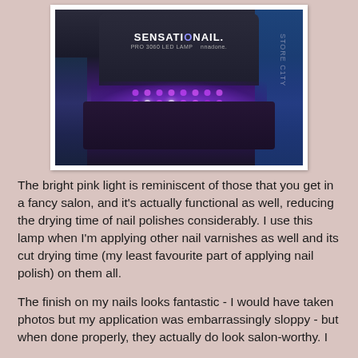[Figure (photo): Photo of a SensatioNail Pro 3060 LED Lamp with bright purple/pink LED lights illuminated inside the lamp chamber, sitting on a surface with packaging visible in the background. The image is in a white photo frame on a pink-beige background.]
The bright pink light is reminiscent of those that you get in a fancy salon, and it's actually functional as well, reducing the drying time of nail polishes considerably. I use this lamp when I'm applying other nail varnishes as well and its cut drying time (my least favourite part of applying nail polish) on them all.
The finish on my nails looks fantastic - I would have taken photos but my application was embarrassingly sloppy - but when done properly, they actually do look salon-worthy. I